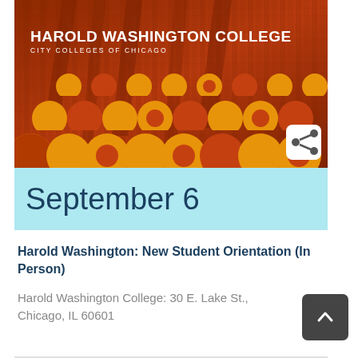[Figure (illustration): Harold Washington College header image with dark orange/red tinted building photo, college name in white bold text, City Colleges of Chicago subtitle, and decorative orange/amber checkerboard circular pattern overlay at bottom.]
September 6
Harold Washington: New Student Orientation (In Person)
Harold Washington College: 30 E. Lake St., Chicago, IL 60601